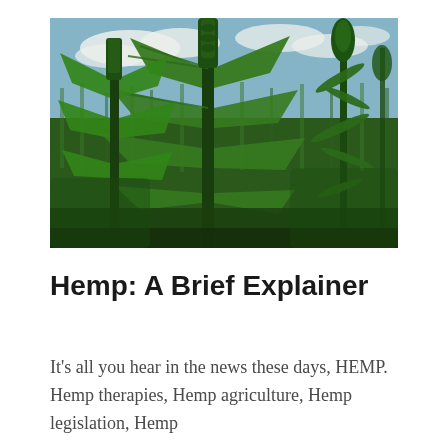[Figure (photo): Close-up photograph of tall hemp/cannabis plants in an outdoor field, with lush green foliage and budding tops, blue sky with clouds visible in the background, rows of similar plants extending into the distance.]
Hemp: A Brief Explainer
It's all you hear in the news these days, HEMP. Hemp therapies, Hemp agriculture, Hemp legislation, Hemp